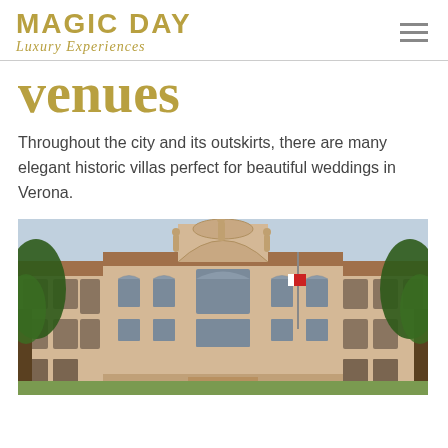MAGIC DAY Luxury Experiences
venues
Throughout the city and its outskirts, there are many elegant historic villas perfect for beautiful weddings in Verona.
[Figure (photo): Exterior photograph of an elegant historic Italian villa (Palazzo/Villa Verona), a Baroque-style building with ornate central pediment decorated with statues, symmetrical facade, terracotta roof, flanked by trees, with a flagpole visible.]